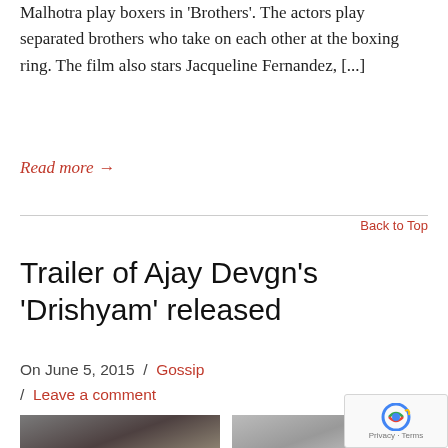Malhotra play boxers in 'Brothers'. The actors play separated brothers who take on each other at the boxing ring. The film also stars Jacqueline Fernandez, [...]
Read more →
Back to Top
Trailer of Ajay Devgn's 'Drishyam' released
On June 5, 2015 / Gossip / Leave a comment
[Figure (photo): Two photos side by side: left shows a man with a moustache (Ajay Devgn), right shows a woman wearing sunglasses]